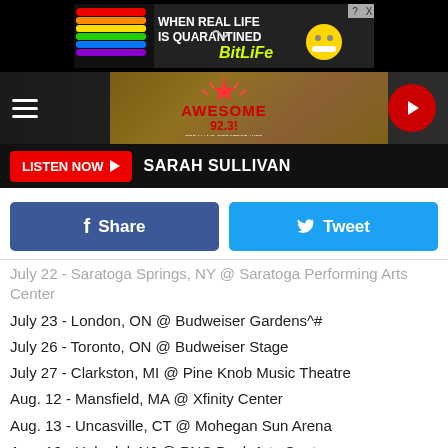[Figure (screenshot): BitLife advertisement banner with rainbow and masked emoji character. Text: WHEN REAL LIFE IS QUARANTINED BitLife]
[Figure (logo): Awesome 92.3 radio station header with logo, hamburger menu, and play button]
LISTEN NOW  SARAH SULLIVAN
Share   Tweet
July 22 - Saratoga Springs, NY @ Saratoga Performing Arts Center
July 23 - London, ON @ Budweiser Gardens^#
July 26 - Toronto, ON @ Budweiser Stage
July 27 - Clarkston, MI @ Pine Knob Music Theatre
Aug. 12 - Mansfield, MA @ Xfinity Center
Aug. 13 - Uncasville, CT @ Mohegan Sun Arena
Aug. 16 - Holmdel, NJ @ PNC Bank Arts Center
Aug. 19 - Atlantic City, NJ @ Mark G Etess Arena at Hard Rock Hotel & Casino